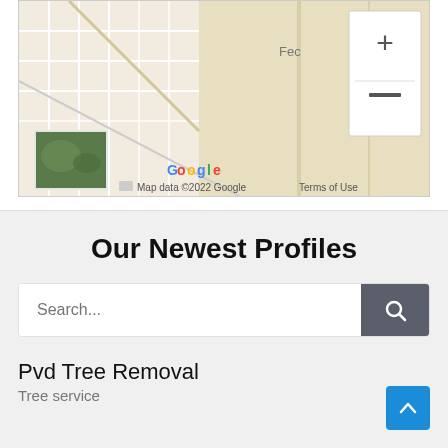[Figure (map): Google Maps screenshot showing a local area map with street grid, terrain, zoom controls (+/-), a satellite thumbnail in the lower-left, Google logo, and text 'Map data ©2022 Google   Terms of Use']
Our Newest Profiles
Search...
Pvd Tree Removal
Tree service